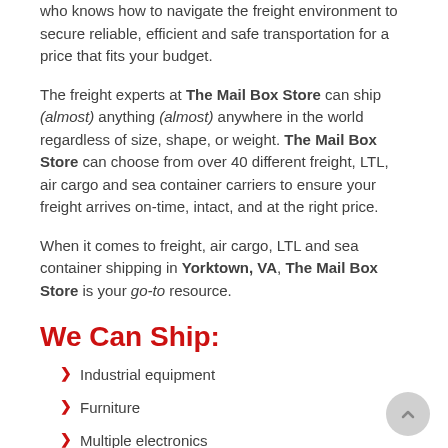who knows how to navigate the freight environment to secure reliable, efficient and safe transportation for a price that fits your budget.
The freight experts at The Mail Box Store can ship (almost) anything (almost) anywhere in the world regardless of size, shape, or weight. The Mail Box Store can choose from over 40 different freight, LTL, air cargo and sea container carriers to ensure your freight arrives on-time, intact, and at the right price.
When it comes to freight, air cargo, LTL and sea container shipping in Yorktown, VA, The Mail Box Store is your go-to resource.
We Can Ship:
Industrial equipment
Furniture
Multiple electronics
Office equipment